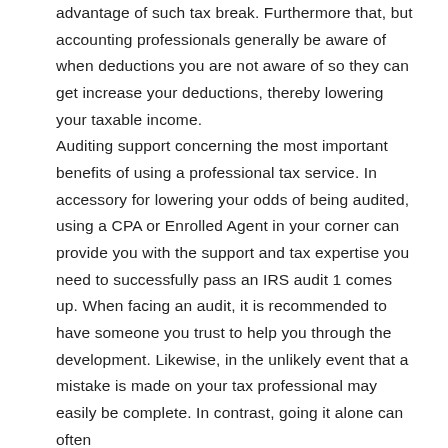advantage of such tax break. Furthermore that, but accounting professionals generally be aware of when deductions you are not aware of so they can get increase your deductions, thereby lowering your taxable income. Auditing support concerning the most important benefits of using a professional tax service. In accessory for lowering your odds of being audited, using a CPA or Enrolled Agent in your corner can provide you with the support and tax expertise you need to successfully pass an IRS audit 1 comes up. When facing an audit, it is recommended to have someone you trust to help you through the development. Likewise, in the unlikely event that a mistake is made on your tax professional may easily be complete. In contrast, going it alone can often